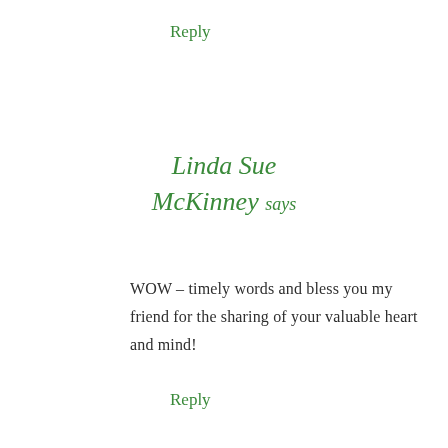Reply
Linda Sue
McKinney says
WOW – timely words and bless you my friend for the sharing of your valuable heart and mind!
Reply